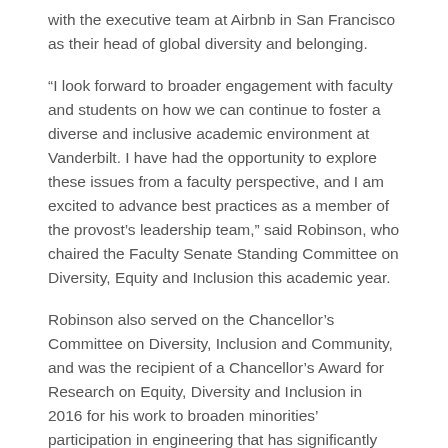with the executive team at Airbnb in San Francisco as their head of global diversity and belonging.
“I look forward to broader engagement with faculty and students on how we can continue to foster a diverse and inclusive academic environment at Vanderbilt. I have had the opportunity to explore these issues from a faculty perspective, and I am excited to advance best practices as a member of the provost’s leadership team,” said Robinson, who chaired the Faculty Senate Standing Committee on Diversity, Equity and Inclusion this academic year.
Robinson also served on the Chancellor’s Committee on Diversity, Inclusion and Community, and was the recipient of a Chancellor’s Award for Research on Equity, Diversity and Inclusion in 2016 for his work to broaden minorities’ participation in engineering that has significantly informed the understanding of factors that often